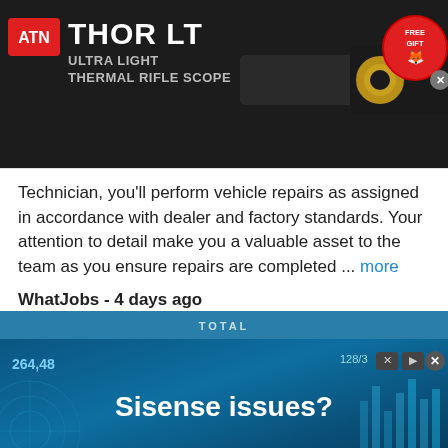[Figure (screenshot): ATN Thor LT Ultra Light Thermal Rifle Scope advertisement banner with product image and Free Gift badge]
Technician, you'll perform vehicle repairs as assigned in accordance with dealer and factory standards. Your attention to detail make you a valuable asset to the team as you ensure repairs are completed ... more
WhatJobs - 4 days ago
Field Engineer II
JT4 LLC - Edwards Air Force Base , CA
JT4 provides engineering and technical support to multiple western test ranges for the U.S. Air Force and Navy under the Joint Range Technical Services Contract, better known as J-Tech II. We develop and
[Figure (screenshot): Sisense issues? advertisement banner with blue data visualization background showing 264,48 and chart elements]